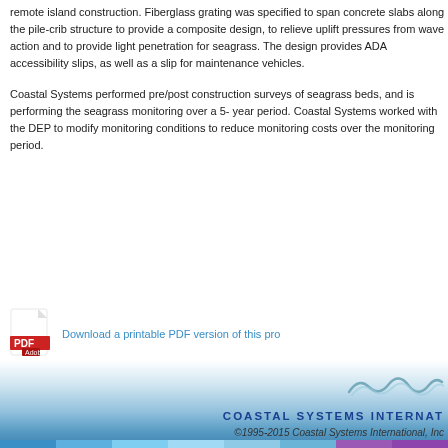remote island construction. Fiberglass grating was specified to span concrete slabs along the pile-crib structure to provide a composite design, to relieve uplift pressures from wave action and to provide light penetration for seagrass. The design provides ADA accessibility slips, as well as a slip for maintenance vehicles.
Coastal Systems performed pre/post construction surveys of seagrass beds, and is performing the seagrass monitoring over a 5-year period. Coastal Systems worked with the DEP to modify monitoring conditions to reduce monitoring costs over the monitoring period.
[Figure (other): PDF icon (red Adobe PDF logo) with link text: Download a printable PDF version of this project]
COASTAL SYSTEMS INTERNATIONAL ©1995-2015 Coastal Systems International, Inc.